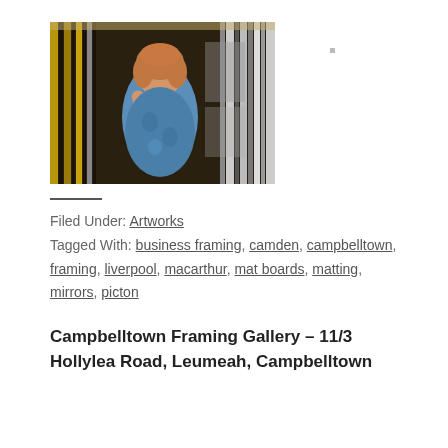[Figure (photo): Woman with curly red hair browsing picture frames in a framing gallery, surrounded by gold and dark frames stacked vertically.]
Filed Under: Artworks
Tagged With: business framing, camden, campbelltown, framing, liverpool, macarthur, mat boards, matting, mirrors, picton
Campbelltown Framing Gallery – 11/3 Hollylea Road, Leumeah, Campbelltown